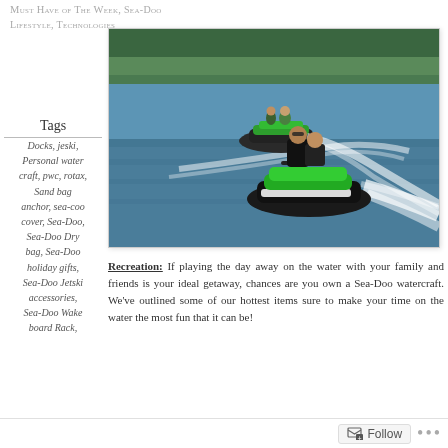MUST HAVE OF THE WEEK, Sea-Doo Lifestyle, Technologies
Tags
Docks, jeski, Personal water craft, pwc, rotax, Sand bag anchor, sea-coo cover, Sea-Doo, Sea-Doo Dry bag, Sea-Doo holiday gifts, Sea-Doo Jetski accessories, Sea-Doo Wake board Rack,
[Figure (photo): Two people riding green Sea-Doo personal watercraft on a lake, with white wakes trailing behind them and trees visible in the background.]
Recreation: If playing the day away on the water with your family and friends is your ideal getaway, chances are you own a Sea-Doo watercraft. We've outlined some of our hottest items sure to make your time on the water the most fun that it can be!
Follow